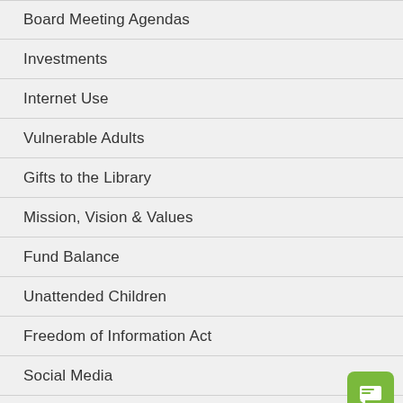Board Meeting Agendas
Investments
Internet Use
Vulnerable Adults
Gifts to the Library
Mission, Vision & Values
Fund Balance
Unattended Children
Freedom of Information Act
Social Media
Library Exhibits